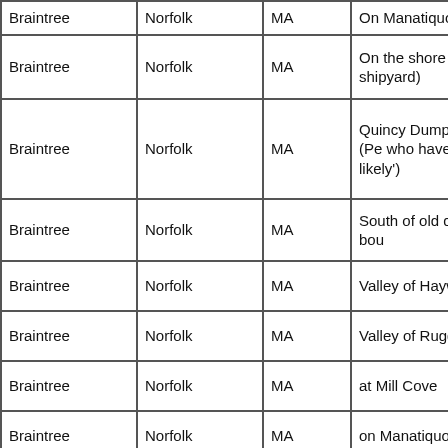| City | County | State | Description |
| --- | --- | --- | --- |
| Braintree | Norfolk | MA | On Manatiquot Brook |
| Braintree | Norfolk | MA | On the shore of the Fore (This is the shipyard) |
| Braintree | Norfolk | MA | Quincy Dump South of Telephone Pole #10. (Pe who have checked out the report say 'not likely') |
| Braintree | Norfolk | MA | South of old quarry in glacially transported bou |
| Braintree | Norfolk | MA | Valley of Hayward Creek |
| Braintree | Norfolk | MA | Valley of Ruggles Creek |
| Braintree | Norfolk | MA | at Mill Cove |
| Braintree | Norfolk | MA | on Manatiquot Brook |
| Hingham | Norfolk | MA | At Hewitts Cove |
| North Attleboro | Norfolk | MA | Hoppin Reservoir,Small fauna 41.10N 71.3W in s red siltstone and sandsto |